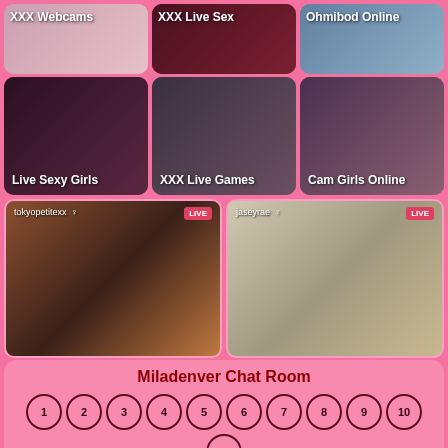[Figure (photo): Grid of 6 webcam category thumbnails with labels: XXX Webcams, XXX Live Sex, Ohmibod Online, Live Sexy Girls, XXX Live Games, Cam Girls Online]
[Figure (photo): Two live webcam streams: tokyopetitexx (LIVE) and jaseyrae (LIVE)]
Miladenver Chat Room
1 2 3 4 5 6 7 8 9 10 11 - page numbers